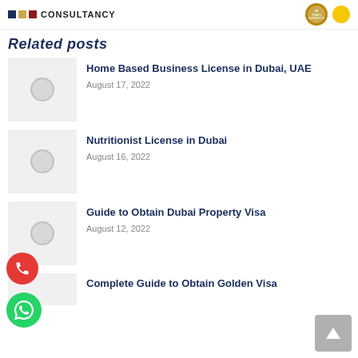CONSULTANCY
Related posts
Home Based Business License in Dubai, UAE — August 17, 2022
Nutritionist License in Dubai — August 16, 2022
Guide to Obtain Dubai Property Visa — August 12, 2022
Complete Guide to Obtain Golden Visa